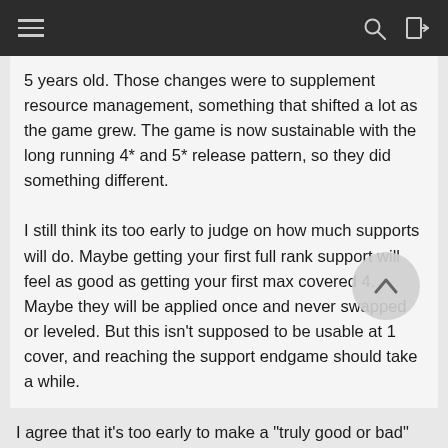5 years old. Those changes were to supplement resource management, something that shifted a lot as the game grew. The game is now sustainable with the long running 4* and 5* release pattern, so they did something different.

I still think its too early to judge on how much supports will do. Maybe getting your first full rank support will feel as good as getting your first max covered 4. Maybe they will be applied once and never swapped or leveled. But this isn't supposed to be usable at 1 cover, and reaching the support endgame should take a while.
I agree that it's too early to make a "truly good or bad"